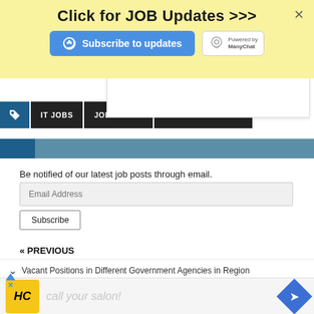[Figure (screenshot): Yellow popup banner with 'Click for JOB Updates >>>' title, a blue Subscribe to updates button with messenger icon, and a ManyChat badge. Has an X close button in top right.]
[Figure (screenshot): White dropdown overlay partially visible]
IT JOBS | JOB HIRING | JOB OPPORTUNITY
[Figure (screenshot): Two-tone blue horizontal bar]
Be notified of our latest job posts through email.
[Figure (screenshot): Email Address input field and Subscribe button]
« PREVIOUS
Vacant Positions in Different Government Agencies in Region
[Figure (screenshot): Bottom advertisement bar with HC logo, salon text, and navigation arrow]